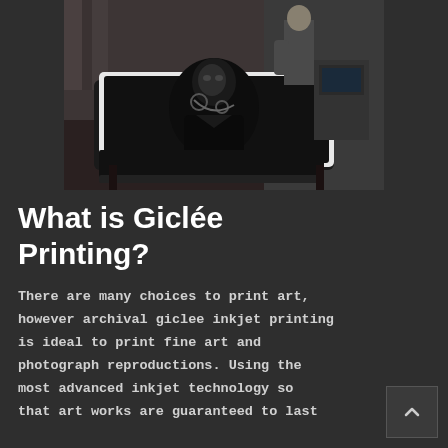[Figure (photo): A large format inkjet printer printing a large black and white photographic portrait of a person. The print is rolling off the machine onto a table with a white border. A person stands in the background.]
What is Giclée Printing?
There are many choices to print art, however archival giclee inkjet printing is ideal to print fine art and photograph reproductions. Using the most advanced inkjet technology so that art works are guaranteed to last